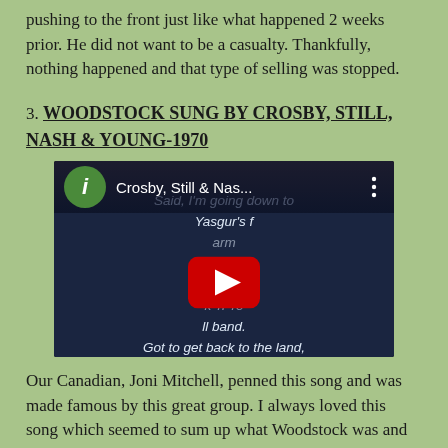pushing to the front just like what happened 2 weeks prior. He did not want to be a casualty. Thankfully, nothing happened and that type of selling was stopped.
3. WOODSTOCK SUNG BY CROSBY, STILL, NASH & YOUNG-1970
[Figure (screenshot): YouTube video thumbnail showing a video titled 'Crosby, Still & Nas...' with lyrics text reading: 'Said, I'm going down to Yasgur's f...ing to join in a roc...ll band. Got to get back to the land, 'n set my soul free.' A red YouTube play button is overlaid in the center. A green circle with 'i' icon appears in the top left.]
Our Canadian, Joni Mitchell, penned this song and was made famous by this great group. I always loved this song which seemed to sum up what Woodstock was and is.